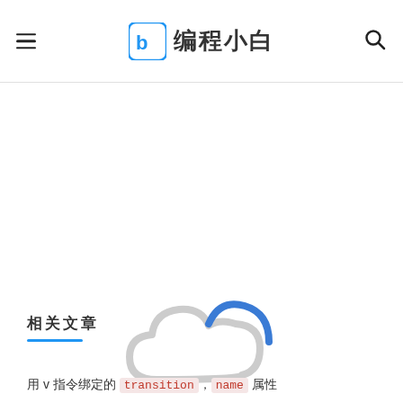编程小白
[Figure (illustration): A loading/cloud icon: a cloud shape outline in light gray with a blue gradient arc at the top right, indicating a loading spinner or upload icon]
相关文章
用 v 指令绑定的 transition，name 属性